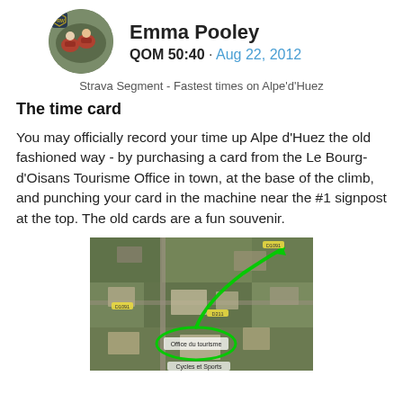[Figure (photo): Profile photo of Emma Pooley - circular avatar showing cyclists in red jerseys]
Emma Pooley
QOM 50:40 · Aug 22, 2012
Strava Segment - Fastest times on Alpe'd'Huez
The time card
You may officially record your time up Alpe d'Huez the old fashioned way - by purchasing a card from the Le Bourg-d'Oisans Tourisme Office in town, at the base of the climb, and punching your card in the machine near the #1 signpost at the top. The old cards are a fun souvenir.
[Figure (map): Aerial/satellite map of Le Bourg-d'Oisans showing a green route arrow and a green oval highlighting the Tourisme office location. Labels include 'Office du tourisme' and 'Cycles et Sports'.]